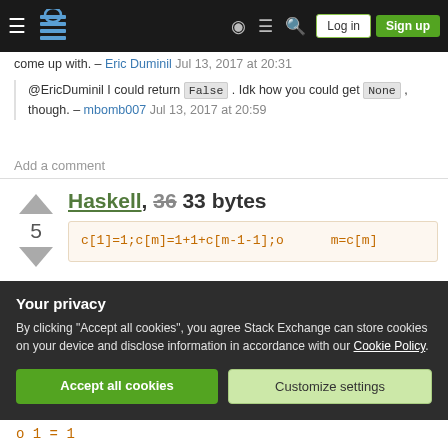Stack Exchange navigation bar with Log in and Sign up buttons
come up with. – Eric Duminil Jul 13, 2017 at 20:31
@EricDuminil I could return False . Idk how you could get None , though. – mbomb007 Jul 13, 2017 at 20:59
Add a comment
Haskell, 36 33 bytes
c[1]=1;c[m]=1+1+c[m-1-1];o      m=c[m]
Your privacy
By clicking "Accept all cookies", you agree Stack Exchange can store cookies on your device and disclose information in accordance with our Cookie Policy.
Accept all cookies
Customize settings
o 1 = 1